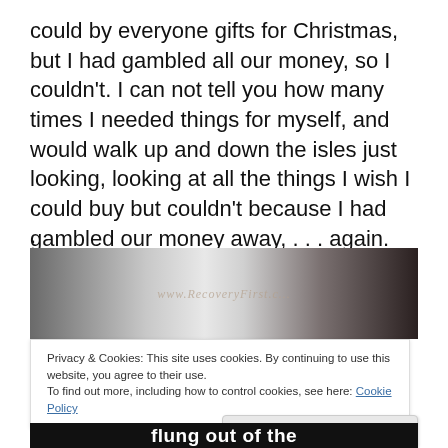could by everyone gifts for Christmas, but I had gambled all our money, so I couldn't. I can not tell you how many times I needed things for myself, and would walk up and down the isles just looking, looking at all the things I wish I could buy but couldn't because I had gambled our money away, . . . again.
.
[Figure (photo): A dark and light contrasted photo with a watermark reading www.RecoveryFirst.c... overlaid in the center, showing abstract or architectural background.]
Privacy & Cookies: This site uses cookies. By continuing to use this website, you agree to their use.
To find out more, including how to control cookies, see here: Cookie Policy
Close and accept
flung out of the